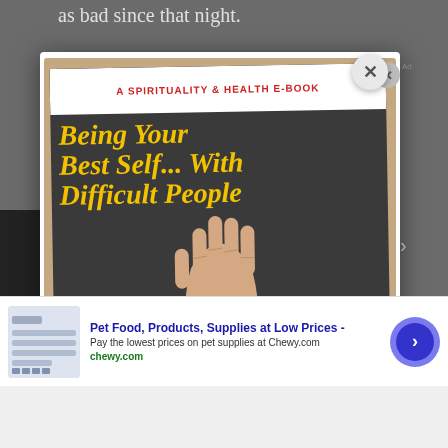as bad since that night.
[Figure (illustration): Modal popup showing an e-book cover titled 'Being Your Best Self... With Difficult People' described as 'A Spirituality & Health E-Book', featuring a person's hand raised against a dark background.]
[Figure (screenshot): Advertisement bar for Chewy.com: 'Pet Food, Products, Supplies at Low Prices - Pay the lowest prices on pet supplies at Chewy.com' with a blue arrow button.]